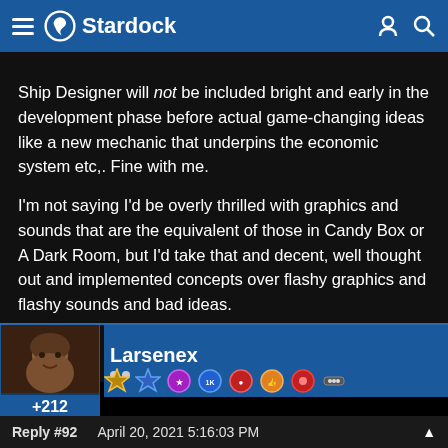Stardock
Ship Designer will not be included bright and early in the development phase before actual game-changing ideas like a new mechanic that underpins the economic system etc,. Fine with me.

I'm not saying I'd be overly thrilled with graphics and sounds that are the equivalent of those in Candy Box or A Dark Room, but I'd take that and decent, well thought out and implemented concepts over flashy graphics and flashy sounds and bad ideas.
Larsenex
+212
Reply #92    April 20, 2021 5:16:03 PM